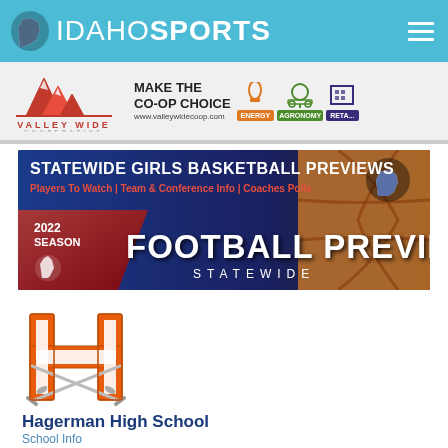IDAHO SPORTS
[Figure (logo): Valley Wide Cooperative advertisement banner with logo, MAKE THE CO-OP CHOICE text, and service icons for Energy, Agronomy, Retail]
[Figure (infographic): Statewide Girls Basketball Previews / 2022 Season Football Previews Statewide banner ad with basketball and football imagery]
[Figure (logo): Hagerman High School logo - orange H with crossed swords]
Hagerman High School
School Info
Conference: 1AD2 Sawtooth Conference
Classification: 1A D2